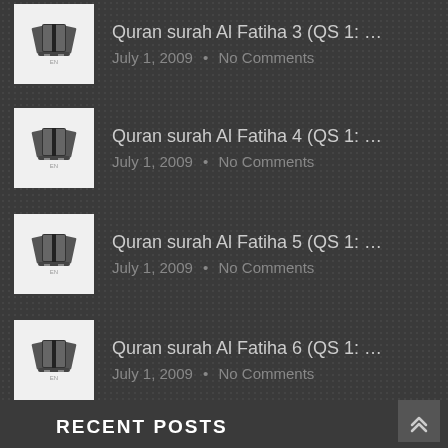Quran surah Al Fatiha 3 (QS 1: ...
July 1, 2009 · No Comments
Quran surah Al Fatiha 4 (QS 1: ...
July 1, 2009 · No Comments
Quran surah Al Fatiha 5 (QS 1: ...
July 1, 2009 · No Comments
Quran surah Al Fatiha 6 (QS 1: ...
July 1, 2009 · No Comments
Quran surah Al Fatiha 7 (QS 1: ...
July 1, 2009 · No Comments
RECENT POSTS